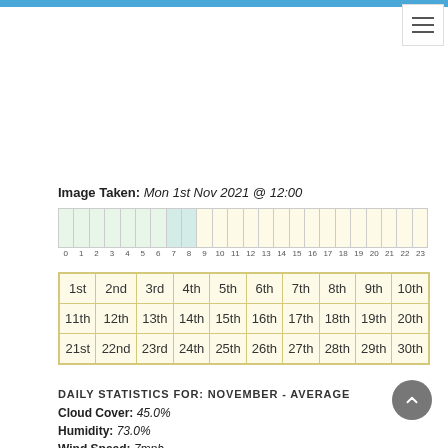Image Taken: Mon 1st Nov 2021 @ 12:00
[Figure (other): Hourly cloud/weather chart showing 24 hours (0–23) with colored cells indicating conditions throughout the day. Hours 0-6 light green, hours 7-8 teal/mint, hours 9-23 light yellow.]
| 1st | 2nd | 3rd | 4th | 5th | 6th | 7th | 8th | 9th | 10th |
| 11th | 12th | 13th | 14th | 15th | 16th | 17th | 18th | 19th | 20th |
| 21st | 22nd | 23rd | 24th | 25th | 26th | 27th | 28th | 29th | 30th |
DAILY STATISTICS FOR: NOVEMBER - AVERAGE
Cloud Cover: 45.0%
Humidity: 73.0%
Wind Speed: 7mph